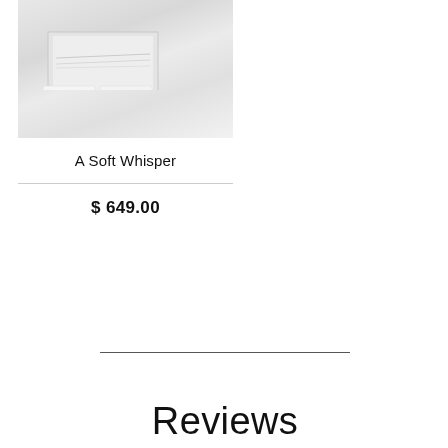[Figure (photo): Product photo of a framed abstract landscape art print in light grey and white tones, displayed above white bedding or cushions in a minimalist bedroom setting.]
A Soft Whisper
$ 649.00
Reviews